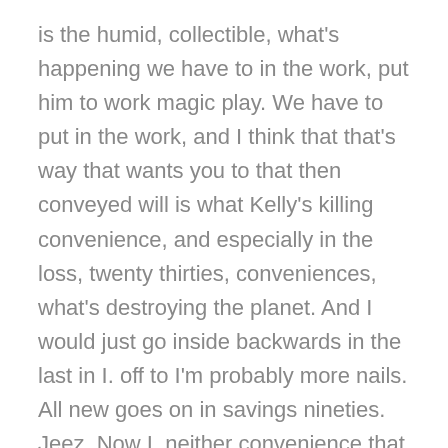is the humid, collectible, what's happening we have to in the work, put him to work magic play. We have to put in the work, and I think that that's way that wants you to that then conveyed will is what Kelly's killing convenience, and especially in the loss, twenty thirties, conveniences, what's destroying the planet. And I would just go inside backwards in the last in I. off to I'm probably more nails. All new goes on in savings nineties. Jeez. Now I, neither convenience that we have out is just going, suck proposed. I fos, but the stuff that's one of the packaging stuff, it's not even more convenient. Like, you know, he buys on the c. you look.